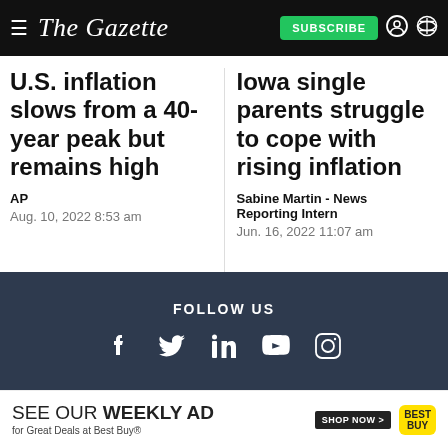The Gazette — SUBSCRIBE
U.S. inflation slows from a 40-year peak but remains high
AP
Aug. 10, 2022 8:53 am
Iowa single parents struggle to cope with rising inflation
Sabine Martin - News Reporting Intern
Jun. 16, 2022 11:07 am
FOLLOW US
[Figure (other): Social media icons: Facebook, Twitter, LinkedIn, YouTube, Instagram]
SEE OUR WEEKLY AD for Great Deals at Best Buy®  SHOP NOW >  BEST BUY